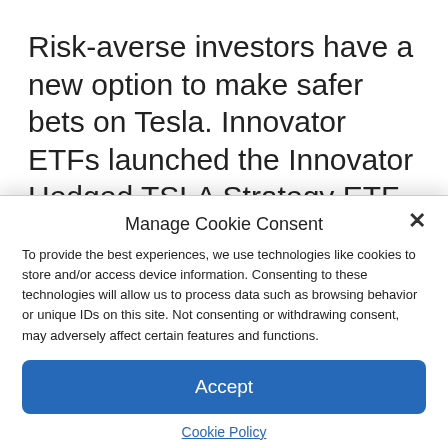Risk-averse investors have a new option to make safer bets on Tesla. Innovator ETFs launched the Innovator Hedged TSLA Strategy ETF (TSLH) – among other defined outcome products – last month. According to the ETF's CEO Bruce Bond, it gives investors [text continues behind modal]
Manage Cookie Consent
To provide the best experiences, we use technologies like cookies to store and/or access device information. Consenting to these technologies will allow us to process data such as browsing behavior or unique IDs on this site. Not consenting or withdrawing consent, may adversely affect certain features and functions.
Accept
Cookie Policy